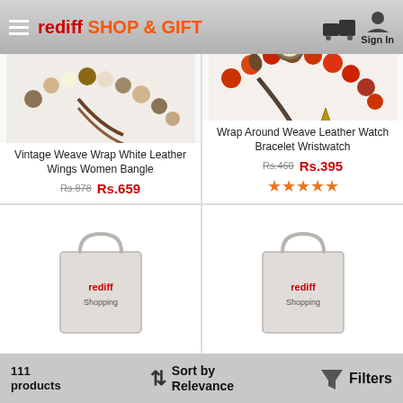rediff SHOP & GIFT
[Figure (photo): Vintage beaded bracelet with bronze butterfly charm pendant]
Vintage Weave Wrap White Leather Wings Women Bangle
Rs.878  Rs.659
[Figure (photo): Wrap around weave leather watch bracelet with red beads and bronze starfish charm]
Wrap Around Weave Leather Watch Bracelet Wristwatch
Rs.460  Rs.395  ★★★★★
[Figure (photo): Rediff Shopping bag placeholder image]
[Figure (photo): Rediff Shopping bag placeholder image]
111 products   Sort by Relevance   Filters